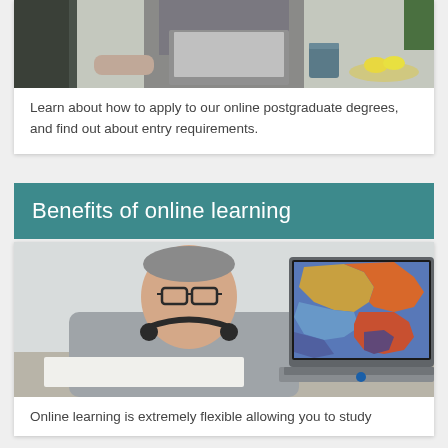[Figure (photo): A person standing at a kitchen counter working on a laptop while writing notes, with a mug and fruit bowl visible in the background.]
Learn about how to apply to our online postgraduate degrees, and find out about entry requirements.
Benefits of online learning
[Figure (photo): An older man with glasses and headphones around his neck sitting at a desk writing notes, with a laptop showing a colorful map on the screen beside him.]
Online learning is extremely flexible allowing you to study